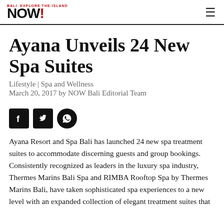NOW Bali
Ayana Unveils 24 New Spa Suites
Lifestyle | Spa and Wellness
March 20, 2017 by NOW Bali Editorial Team
[Figure (infographic): Three social media share icons: Facebook, Twitter, WhatsApp]
Ayana Resort and Spa Bali has launched 24 new spa treatment suites to accommodate discerning guests and group bookings. Consistently recognized as leaders in the luxury spa industry, Thermes Marins Bali Spa and RIMBA Rooftop Spa by Thermes Marins Bali, have taken sophisticated spa experiences to a new level with an expanded collection of elegant treatment suites that